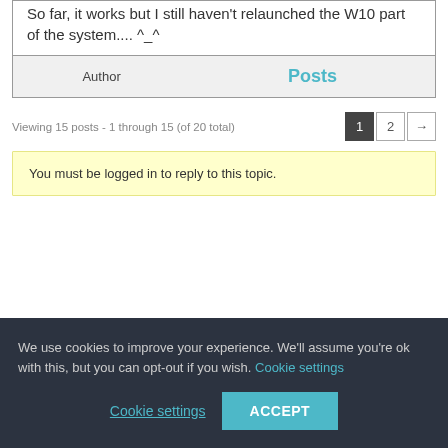So far, it works but I still haven't relaunched the W10 part of the system.... ^_^
| Author | Posts |
| --- | --- |
Viewing 15 posts - 1 through 15 (of 20 total)
You must be logged in to reply to this topic.
We use cookies to improve your experience. We'll assume you're ok with this, but you can opt-out if you wish. Cookie settings  ACCEPT